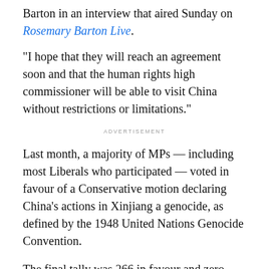Barton in an interview that aired Sunday on Rosemary Barton Live.
"I hope that they will reach an agreement soon and that the human rights high commissioner will be able to visit China without restrictions or limitations."
ADVERTISEMENT
Last month, a majority of MPs — including most Liberals who participated — voted in favour of a Conservative motion declaring China's actions in Xinjiang a genocide, as defined by the 1948 United Nations Genocide Convention.
The final tally was 266 in favour and zero opposed. Two MPs formally abstained.